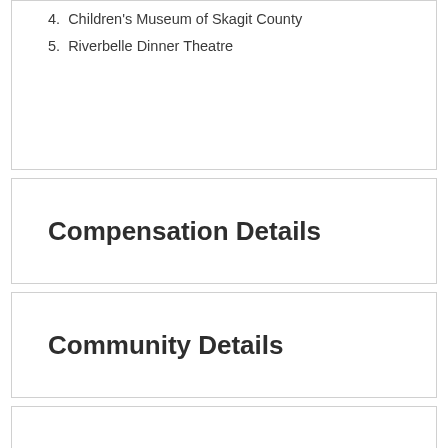4. Children's Museum of Skagit County
5. Riverbelle Dinner Theatre
Compensation Details
Community Details